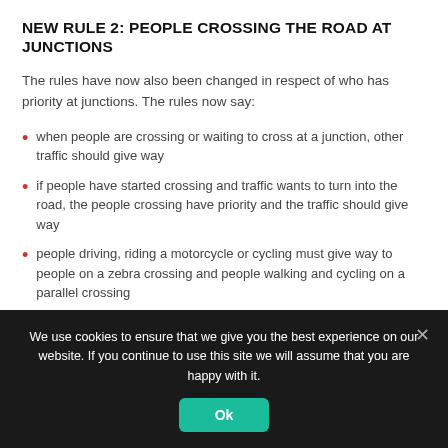NEW RULE 2: PEOPLE CROSSING THE ROAD AT JUNCTIONS
The rules have now also been changed in respect of who has priority at junctions. The rules now say:
when people are crossing or waiting to cross at a junction, other traffic should give way
if people have started crossing and traffic wants to turn into the road, the people crossing have priority and the traffic should give way
people driving, riding a motorcycle or cycling must give way to people on a zebra crossing and people walking and cycling on a parallel crossing
We use cookies to ensure that we give you the best experience on our website. If you continue to use this site we will assume that you are happy with it.